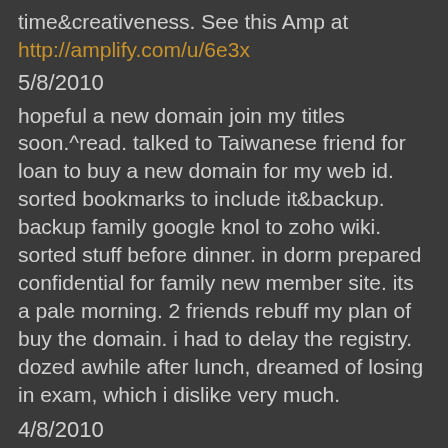time&creativeness. See this Amp at http://amplify.com/u/6e3x
5/8/2010
hopeful a new domain join my titles soon.^read. talked to Taiwanese friend for loan to buy a new domain for my web id. sorted bookmarks to include it&backup. backup family google knol to zoho wiki. sorted stuff before dinner. in dorm prepared confidential for family new member site. its a pale morning. 2 friends rebuff my plan of buy the domain. i had to delay the registry. dozed awhile after lunch, dreamed of losing in exam, which i dislike very much.
4/8/2010
dreamed of new domain buy&restless reckons of debt.^read. refined autopost to posterous among family amplify accounts. got "starcraft II" finally, amid praying God for pardon me lingering in office for games. played badminton with the couple whose wife worked in neighbor office after dinner. baby didn't talk to me in daily buzz. dreamed of buy one or two domains for my web id, indecisive upon the cost, for my poor financial status hardly supports. join office earlier than 7am. a pale morning like yesterday but still i felt Masheng's love. God, what's the gap between our reuniting?